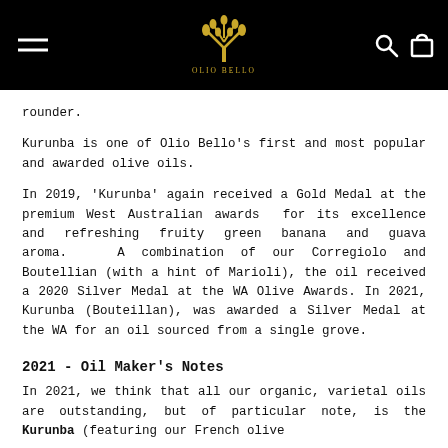Olio Bello — navigation header with logo, menu, search and cart icons
rounder.
Kurunba is one of Olio Bello's first and most popular and awarded olive oils.
In 2019, 'Kurunba' again received a Gold Medal at the premium West Australian awards  for its excellence and refreshing fruity green banana and guava aroma.   A combination of our Corregiolo and Boutellian (with a hint of Marioli), the oil received a 2020 Silver Medal at the WA Olive Awards. In 2021, Kurunba (Bouteillan), was awarded a Silver Medal at the WA for an oil sourced from a single grove.
2021 - Oil Maker's Notes
In 2021, we think that all our organic, varietal oils are outstanding, but of particular note, is the Kurunba (featuring our French olive